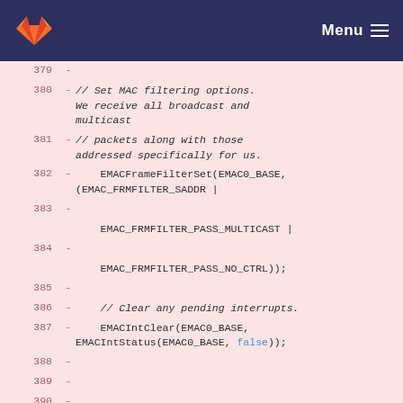GitLab navigation header with logo and Menu
[Figure (screenshot): GitLab code diff view showing removed lines 379-389 with MAC filtering and interrupt clearing C code]
379 -
380 -      // Set MAC filtering options. We receive all broadcast and multicast
381 -      // packets along with those addressed specifically for us.
382 -      EMACFrameFilterSet(EMAC0_BASE, (EMAC_FRMFILTER_SADDR |
383 -
             EMAC_FRMFILTER_PASS_MULTICAST |
384 -
             EMAC_FRMFILTER_PASS_NO_CTRL));
385 -
386 -      // Clear any pending interrupts.
387 -      EMACIntClear(EMAC0_BASE, EMACIntStatus(EMAC0_BASE, false));
388 -
389 -
390